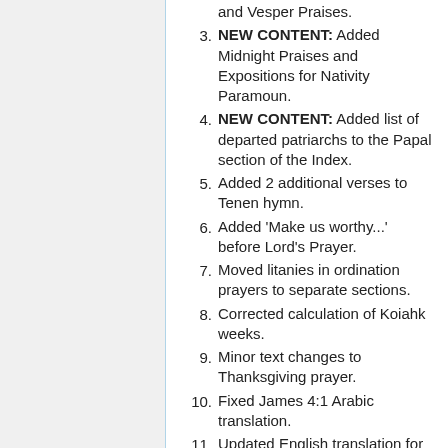and Vesper Praises.
3. NEW CONTENT: Added Midnight Praises and Expositions for Nativity Paramoun.
4. NEW CONTENT: Added list of departed patriarchs to the Papal section of the Index.
5. Added 2 additional verses to Tenen hymn.
6. Added 'Make us worthy...' before Lord's Prayer.
7. Moved litanies in ordination prayers to separate sections.
8. Corrected calculation of Koiahk weeks.
9. Minor text changes to Thanksgiving prayer.
10. Fixed James 4:1 Arabic translation.
11. Updated English translation for